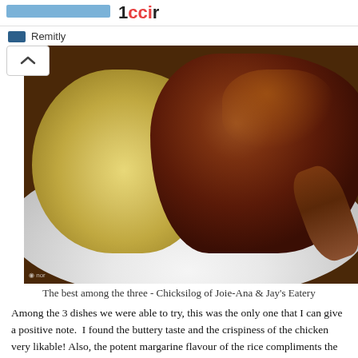Remitly
[Figure (photo): A white plate with a mound of garlic fried rice (sinangag) on the left and a piece of crispy roasted chicken on the right, photographed in dim lighting on a wooden surface. Watermark visible in bottom left corner.]
The best among the three - Chicksilog of Joie-Ana & Jay's Eatery
Among the 3 dishes we were able to try, this was the only one that I can give a positive note.  I found the buttery taste and the crispiness of the chicken very likable! Also, the potent margarine flavour of the rice compliments the chicken unlike with the other two (i.e. tapa and liempo) where the tastes did not jive.
Liemsilog (Liempo + Sinangag + Itlog) || P55
[Figure (photo): Partial photo of a food dish, cropped at bottom of page.]